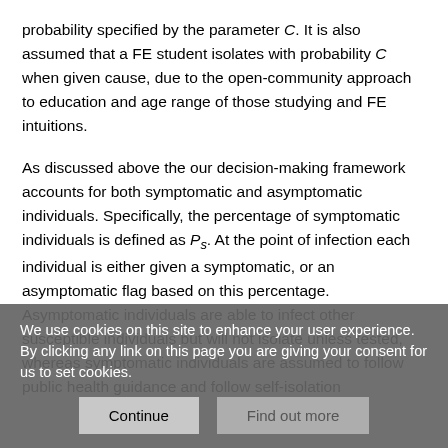probability specified by the parameter C. It is also assumed that a FE student isolates with probability C when given cause, due to the open-community approach to education and age range of those studying and FE intuitions.
As discussed above the our decision-making framework accounts for both symptomatic and asymptomatic individuals. Specifically, the percentage of symptomatic individuals is defined as P_s. At the point of infection each individual is either given a symptomatic, or an asymptomatic flag based on this percentage. Asymptomatic individuals are able to infect other susceptible individuals but will not isolate unless tested, whereas symptomatic individuals are assumed to follow public health guidance and follow self-isolation
We use cookies on this site to enhance your user experience. By clicking any link on this page you are giving your consent for us to set cookies.